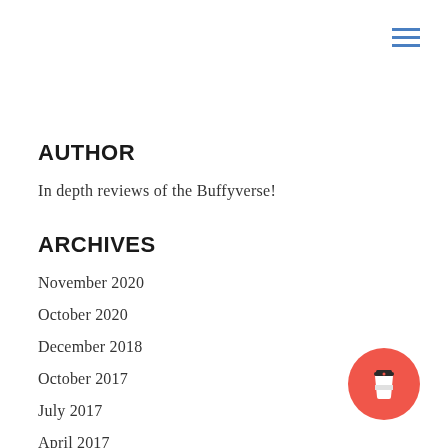[Figure (other): Hamburger menu icon with three blue horizontal lines in top right corner]
AUTHOR
In depth reviews of the Buffyverse!
ARCHIVES
November 2020
October 2020
December 2018
October 2017
July 2017
April 2017
March 2017
[Figure (illustration): Red circular button with a coffee cup takeaway icon]